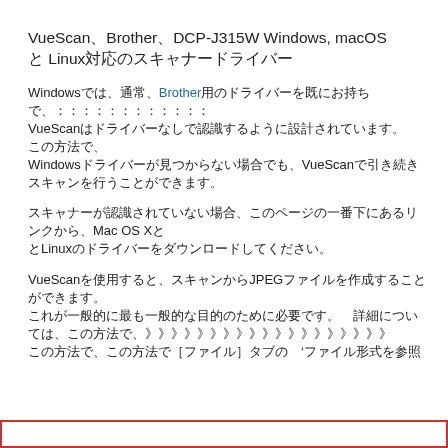VueScan、Brother、DCP-J315W Windows, macOS と Linux対応のスキャナードライバー
Windowsでは、通常、Brother用のドライバーを既にお持ちで、VueScanはドライバーなしで認識するように設計されています。 この方法で、Windowsドライバーが見つからない場合でも、VueScanで引き続きスキャンを行うことができます。
スキャナーが認識されていない場合、このページの一番下にあるリンクから、Mac OS X と Linuxのドライバーをダウンロードしてください。
VueScanを使用すると、スキャンからJPEGファイルを作成することができます。 これが一般的に最も一般的な目的のために必要です。詳細については、[ファイル]タブの 'ファイル形式を参照